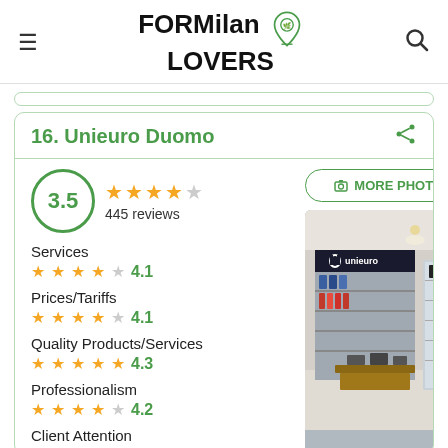FORMilan LOVERS
16. Unieuro Duomo
3.5 — 445 reviews
Services 4.1
Prices/Tariffs 4.1
Quality Products/Services 4.3
Professionalism 4.2
Client Attention
[Figure (photo): Interior of Unieuro electronics store showing product displays and storefront signage]